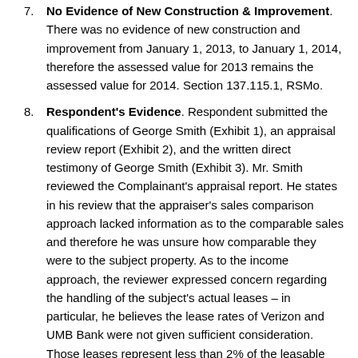No Evidence of New Construction & Improvement. There was no evidence of new construction and improvement from January 1, 2013, to January 1, 2014, therefore the assessed value for 2013 remains the assessed value for 2014. Section 137.115.1, RSMo.
Respondent's Evidence. Respondent submitted the qualifications of George Smith (Exhibit 1), an appraisal review report (Exhibit 2), and the written direct testimony of George Smith (Exhibit 3). Mr. Smith reviewed the Complainant's appraisal report. He states in his review that the appraiser's sales comparison approach lacked information as to the comparable sales and therefore he was unsure how comparable they were to the subject property. As to the income approach, the reviewer expressed concern regarding the handling of the subject's actual leases – in particular, he believes the lease rates of Verizon and UMB Bank were not given sufficient consideration. Those leases represent less than 2% of the leasable space of the subject properties. Wal-